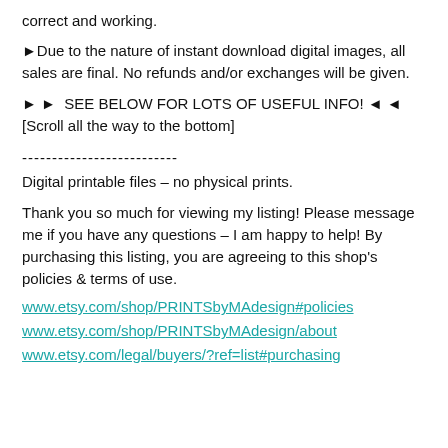correct and working.
► Due to the nature of instant download digital images, all sales are final. No refunds and/or exchanges will be given.
► ►  SEE BELOW FOR LOTS OF USEFUL INFO! ◄ ◄ [Scroll all the way to the bottom]
--------------------------
Digital printable files – no physical prints.
Thank you so much for viewing my listing! Please message me if you have any questions – I am happy to help! By purchasing this listing, you are agreeing to this shop's policies & terms of use.
www.etsy.com/shop/PRINTSbyMAdesign#policies
www.etsy.com/shop/PRINTSbyMAdesign/about
www.etsy.com/legal/buyers/?ref=list#purchasing